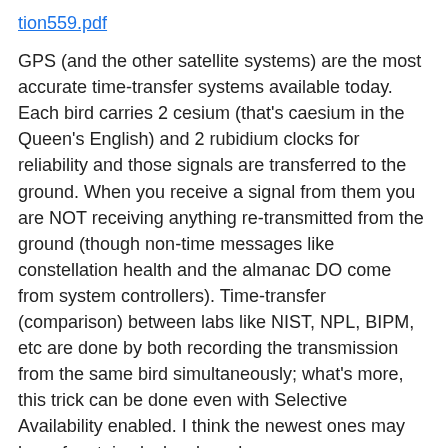tion559.pdf
GPS (and the other satellite systems) are the most accurate time-transfer systems available today. Each bird carries 2 cesium (that’s caesium in the Queen’s English) and 2 rubidium clocks for reliability and those signals are transferred to the ground. When you receive a signal from them you are NOT receiving anything re-transmitted from the ground (though non-time messages like constellation health and the almanac DO come from system controllers). Time-transfer (comparison) between labs like NIST, NPL, BIPM, etc are done by both recording the transmission from the same bird simultaneously; what’s more, this trick can be done even with Selective Availability enabled. I think the newest ones may have fountain clocks aboard...
GPS and friends give an accuracy of a picosecond (1X10!-12) or better. As transmitted, the signals from the WWV* stations are in the same category, but *AS RECEIVED* they aren’t